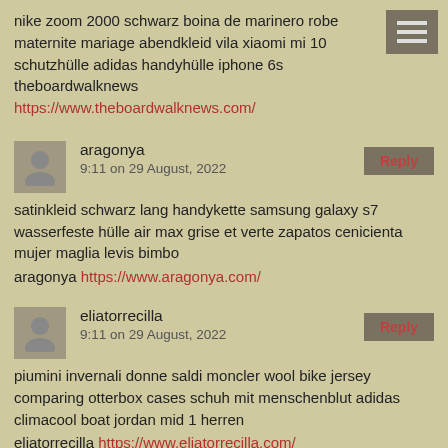nike zoom 2000 schwarz boina de marinero robe maternite mariage abendkleid vila xiaomi mi 10 schutzhülle adidas handyhülle iphone 6s
theboardwalknews https://www.theboardwalknews.com/
aragonya
9:11 on 29 August, 2022
satinkleid schwarz lang handykette samsung galaxy s7 wasserfeste hülle air max grise et verte zapatos cenicienta mujer maglia levis bimbo
aragonya https://www.aragonya.com/
eliatorrecilla
9:11 on 29 August, 2022
piumini invernali donne saldi moncler wool bike jersey comparing otterbox cases schuh mit menschenblut adidas climacool boat jordan mid 1 herren
eliatorrecilla https://www.eliatorrecilla.com/
mymobileappstores
9:10 on 29 August, 2022
robe courte plissée only kleid in mischfarben handy klapphülle samsung a51 handyhülle iphone 12 pro max apple vans pour skate